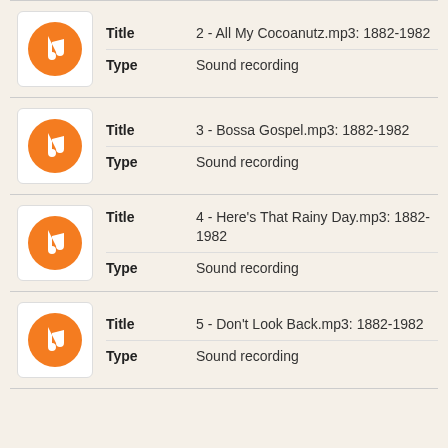| Icon | Field | Value |
| --- | --- | --- |
| [music icon] | Title | 2 - All My Cocoanutz.mp3: 1882-1982 |
|  | Type | Sound recording |
| [music icon] | Title | 3 - Bossa Gospel.mp3: 1882-1982 |
|  | Type | Sound recording |
| [music icon] | Title | 4 - Here's That Rainy Day.mp3: 1882-1982 |
|  | Type | Sound recording |
| [music icon] | Title | 5 - Don't Look Back.mp3: 1882-1982 |
|  | Type | Sound recording |